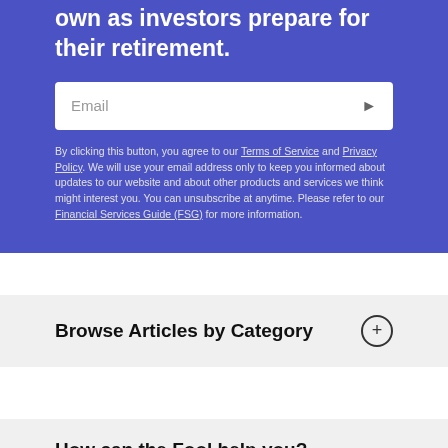own as investors prepare for their retirement.
Email
By clicking this button, you agree to our Terms of Service and Privacy Policy. We will use your email address only to keep you informed about updates to our website and about other products and services we think might interest you. You can unsubscribe at anytime. Please refer to our Financial Services Guide (FSG) for more information.
Browse Articles by Category
How can the Fool help you?